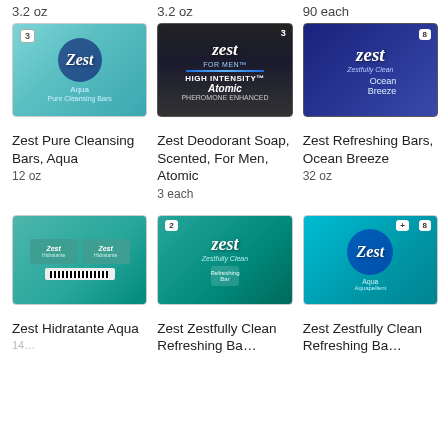3.2 oz
3.2 oz
90 each
[Figure (photo): Zest Pure Cleansing Bars Aqua 3-pack product image, teal/aqua packaging]
[Figure (photo): Zest Deodorant Soap For Men Atomic 3-pack, black packaging with High Intensity Atomic Pheromone Enhanced label]
[Figure (photo): Zest Refreshing Bars Ocean Breeze 8-pack, dark blue packaging]
Zest Pure Cleansing Bars, Aqua
12 oz
Zest Deodorant Soap, Scented, For Men, Atomic
3 each
Zest Refreshing Bars, Ocean Breeze
32 oz
[Figure (photo): Zest Hidratante Aqua green soap bars 2-pack with barcode visible]
[Figure (photo): Zest Zestfully Clean Refreshing Bars 2-pack teal packaging]
[Figure (photo): Zest Zestfully Clean Refreshing Bars 8-pack aqua/teal packaging]
Zest Hidratante Aqua
Zest Zestfully Clean Refreshing Ba…
Zest Zestfully Clean Refreshing Ba…